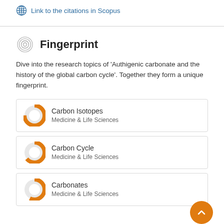Link to the citations in Scopus
Fingerprint
Dive into the research topics of 'Authigenic carbonate and the history of the global carbon cycle'. Together they form a unique fingerprint.
Carbon Isotopes — Medicine & Life Sciences
Carbon Cycle — Medicine & Life Sciences
Carbonates — Medicine & Life Sciences